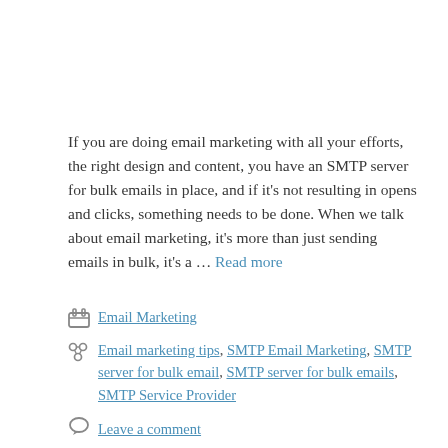If you are doing email marketing with all your efforts, the right design and content, you have an SMTP server for bulk emails in place, and if it's not resulting in opens and clicks, something needs to be done. When we talk about email marketing, it's more than just sending emails in bulk, it's a … Read more
Email Marketing
Email marketing tips, SMTP Email Marketing, SMTP server for bulk email, SMTP server for bulk emails, SMTP Service Provider
Leave a comment